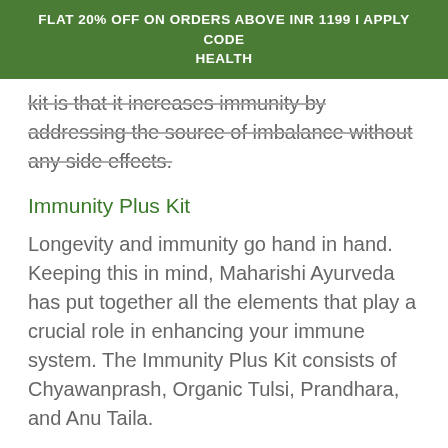FLAT 20% OFF ON ORDERS ABOVE INR 1199 I APPLY CODE HEALTH
kit is that it increases immunity by addressing the source of imbalance without any side effects.
Immunity Plus Kit
Longevity and immunity go hand in hand. Keeping this in mind, Maharishi Ayurveda has put together all the elements that play a crucial role in enhancing your immune system. The Immunity Plus Kit consists of Chyawanprash, Organic Tulsi, Prandhara, and Anu Taila.
WhatsApp   hygiene combo